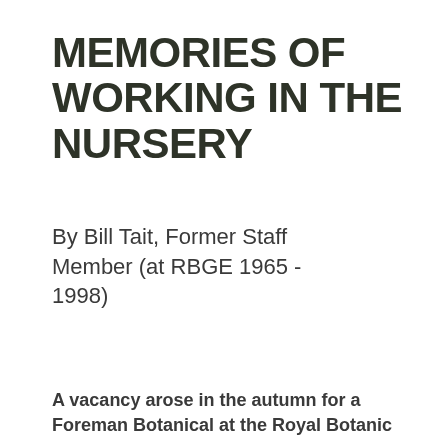MEMORIES OF WORKING IN THE NURSERY
By Bill Tait, Former Staff Member (at RBGE 1965 - 1998)
A vacancy arose in the autumn for a Foreman Botanical at the Royal Botanic